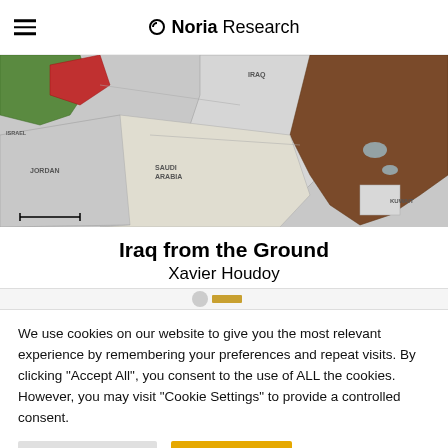Noria Research
[Figure (map): Map showing the Middle East region including Iraq, Jordan, Saudi Arabia, Kuwait, and surrounding countries with colored territory markings]
Iraq from the Ground
Xavier Houdoy
We use cookies on our website to give you the most relevant experience by remembering your preferences and repeat visits. By clicking "Accept All", you consent to the use of ALL the cookies. However, you may visit "Cookie Settings" to provide a controlled consent.